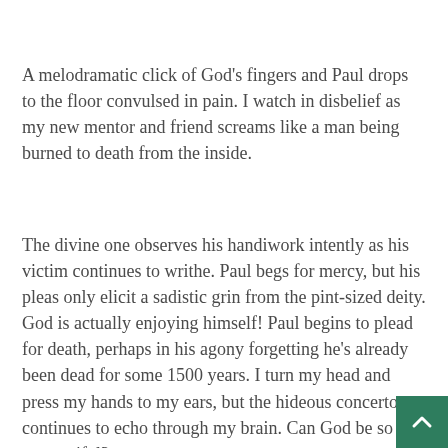A melodramatic click of God's fingers and Paul drops to the floor convulsed in pain. I watch in disbelief as my new mentor and friend screams like a man being burned to death from the inside.
The divine one observes his handiwork intently as his victim continues to writhe. Paul begs for mercy, but his pleas only elicit a sadistic grin from the pint-sized deity. God is actually enjoying himself! Paul begins to plead for death, perhaps in his agony forgetting he's already been dead for some 1500 years. I turn my head and press my hands to my ears, but the hideous concerto continues to echo through my brain. Can God be so unmerciful?